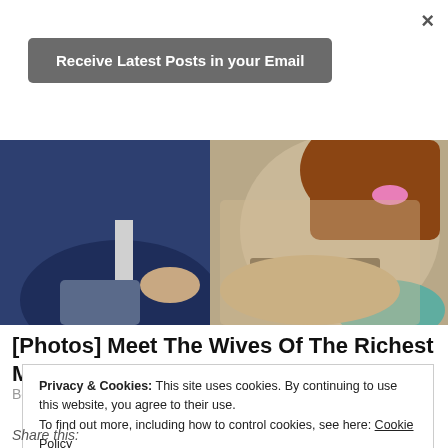×
Receive Latest Posts in your Email
[Figure (photo): A man in a blue suit and a woman in a lace dress sitting together, bodies cropped]
[Photos] Meet The Wives Of The Richest Men Alive
Bon Voyaged
Privacy & Cookies: This site uses cookies. By continuing to use this website, you agree to their use.
To find out more, including how to control cookies, see here: Cookie Policy
Close and accept
Share this: